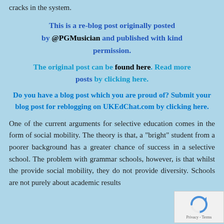cracks in the system.
This is a re-blog post originally posted by @PGMusician and published with kind permission.
The original post can be found here. Read more posts by clicking here.
Do you have a blog post which you are proud of? Submit your blog post for reblogging on UKEdChat.com by clicking here.
One of the current arguments for selective education comes in the form of social mobility. The theory is that, a "bright" student from a poorer background has a greater chance of success in a selective school. The problem with grammar schools, however, is that whilst the provide social mobility, they do not provide diversity. Schools are not purely about academic results